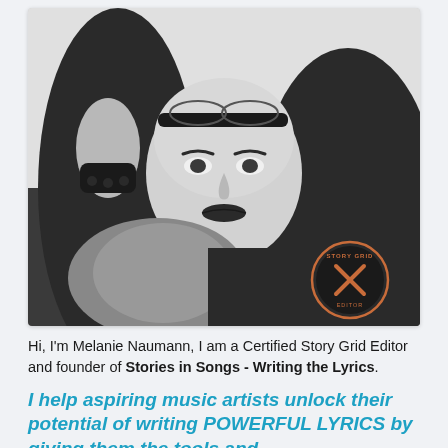[Figure (photo): Black and white photo of a woman with long hair, sunglasses pushed up on her head, dark lipstick, wearing a black t-shirt with a 'Story Grid Editor' circular logo badge on the chest, and a patterned scarf.]
Hi, I'm Melanie Naumann, I am a Certified Story Grid Editor and founder of Stories in Songs - Writing the Lyrics.
I help aspiring music artists unlock their potential of writing POWERFUL LYRICS by giving them the tools and...